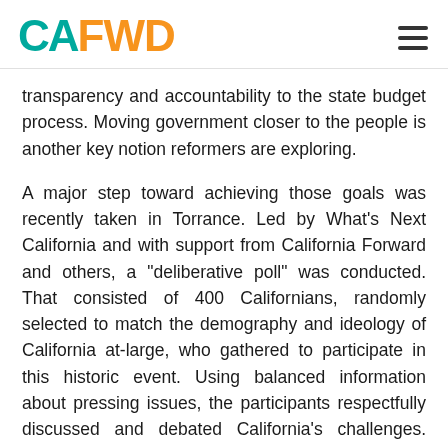CA FWD
transparency and accountability to the state budget process.  Moving government closer to the people is another key notion reformers are exploring.
A major step toward achieving those goals was recently taken in Torrance.  Led by What’s Next California and with support from California Forward and others, a “deliberative poll” was conducted.  That consisted of 400 Californians, randomly selected to match the demography and ideology of California at-large, who gathered to participate in this historic event.  Using balanced information about pressing issues, the participants respectfully discussed and debated California’s challenges.  Education, taxation, prisons, dysfunctional government at many levels were all talked about and potential solutions tested